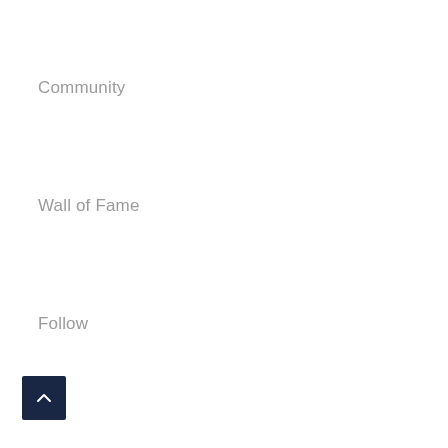Community
Wall of Fame
Follow
[Figure (other): Back to top button — dark navy square with upward chevron arrow icon]